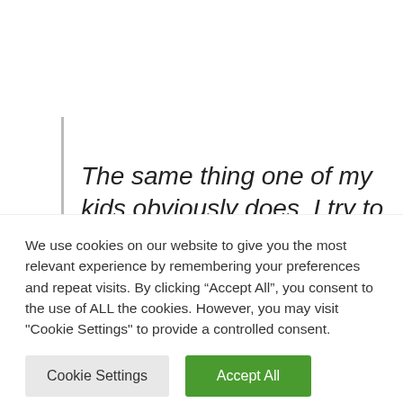The same thing one of my kids obviously does. I try to give him strategies for self-protection, but never to change it.
I say to both children from the bottom of my heart: "You are...
We use cookies on our website to give you the most relevant experience by remembering your preferences and repeat visits. By clicking "Accept All", you consent to the use of ALL the cookies. However, you may visit "Cookie Settings" to provide a controlled consent.